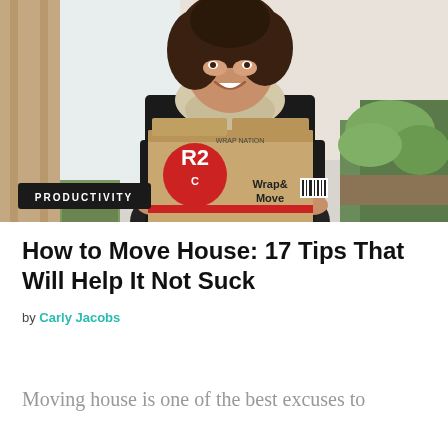[Figure (photo): Woman with curly dark hair smiling, wearing a black top and cream knit scarf, holding a large cardboard moving box labeled 'Wrap & Move'. Green plants visible in background. A 'PRODUCTIVITY' badge overlay is in the bottom-left corner of the image.]
How to Move House: 17 Tips That Will Help It Not Suck
by Carly Jacobs
Moving house is one of the best excuses to